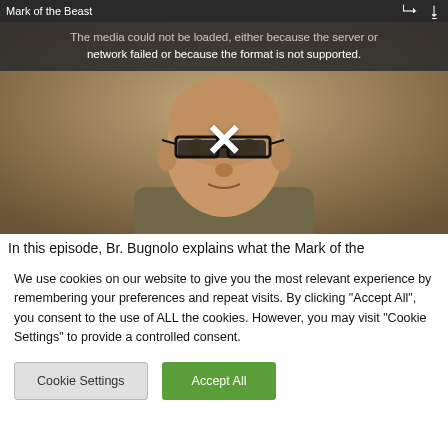Mark of the Beast
[Figure (screenshot): Video player showing a monk (Br. Bugnolo) wearing glasses and a brown habit, with a media error message overlay reading 'The media could not be loaded, either because the server or network failed or because the format is not supported.' and an X button in the center of the player.]
In this episode, Br. Bugnolo explains what the Mark of the
We use cookies on our website to give you the most relevant experience by remembering your preferences and repeat visits. By clicking "Accept All", you consent to the use of ALL the cookies. However, you may visit "Cookie Settings" to provide a controlled consent.
Cookie Settings
Accept All